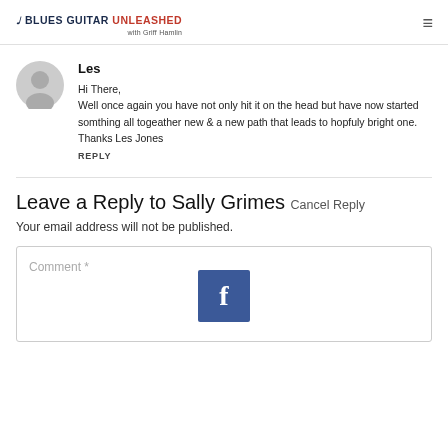BLUES GUITAR UNLEASHED with Griff Hamlin
Les
Hi There,
Well once again you have not only hit it on the head but have now started somthing all togeather new & a new path that leads to hopfuly bright one.
Thanks Les Jones
Reply
Leave a Reply to Sally Grimes Cancel Reply
Your email address will not be published.
[Figure (screenshot): Comment text area with placeholder text 'Comment *' and a Facebook icon button in the center]